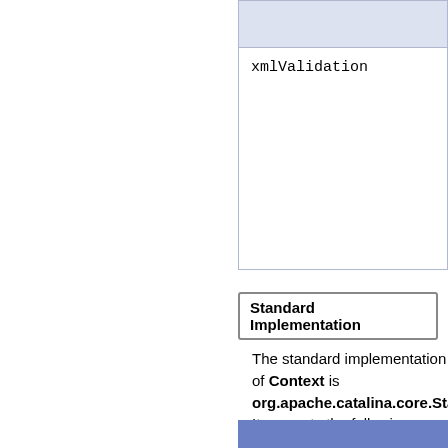|  |  |
| --- | --- |
|  |  |
| xmlValidation |  |
Standard Implementation
The standard implementation of Context is org.apache.catalina.core.Standa... It supports the following additional attributes (in addition to the common attributes listed above):